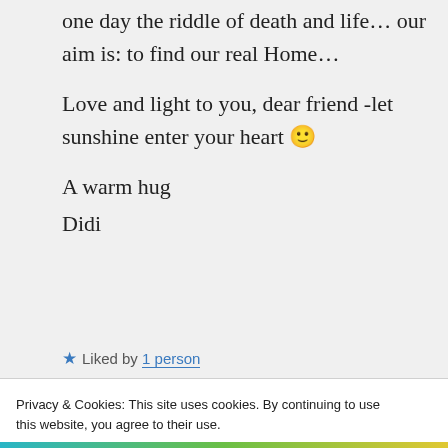one day the riddle of death and life… our aim is: to find our real Home…
Love and light to you, dear friend -let sunshine enter your heart 🙂
A warm hug
Didi
★ Liked by 1 person
Privacy & Cookies: This site uses cookies. By continuing to use this website, you agree to their use.
To find out more, including how to control cookies, see here: Cookie Policy
Close and accept